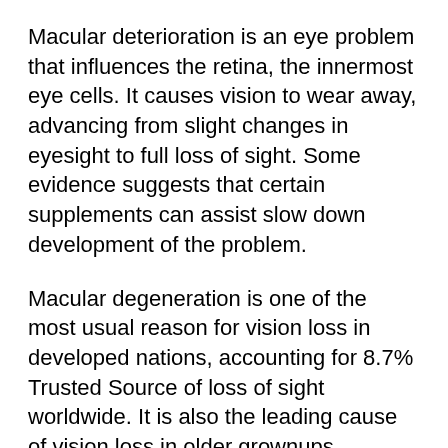Macular deterioration is an eye problem that influences the retina, the innermost eye cells. It causes vision to wear away, advancing from slight changes in eyesight to full loss of sight. Some evidence suggests that certain supplements can assist slow down development of the problem.
Macular degeneration is one of the most usual reason for vision loss in developed nations, accounting for 8.7% Trusted Source of loss of sight worldwide. It is also the leading cause of vision loss in older grownups. Currently, there is no remedy, and treatments aim to lower the rate at which macular deterioration progresses, to delay the effects on vision. Proof suggests that dietary supplements may help in reducing